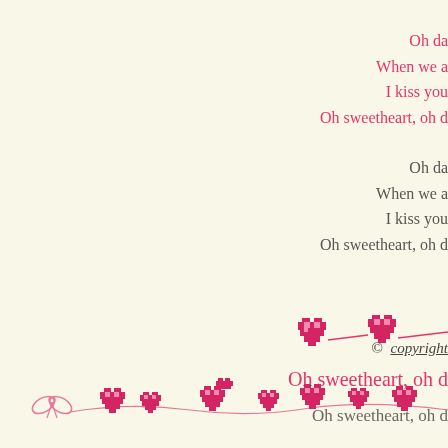Oh da
When we a
I kiss you
Oh sweetheart, oh d
Oh da
When we a
I kiss you
Oh sweetheart, oh d
[Figure (illustration): Pixel-art heart chain decorative divider]
Oh sweetheart, oh d
Oh sweetheart, oh d
© copyright
[Figure (illustration): Pixel-art heart chain border along bottom with bow on left]